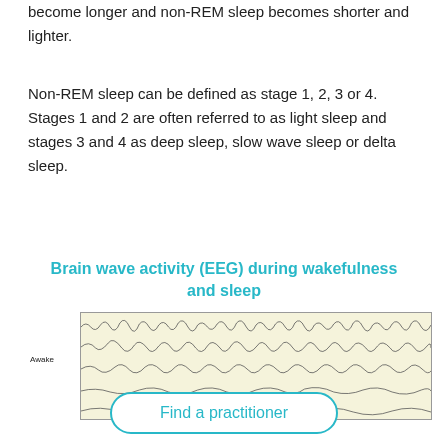become longer and non-REM sleep becomes shorter and lighter.
Non-REM sleep can be defined as stage 1, 2, 3 or 4. Stages 1 and 2 are often referred to as light sleep and stages 3 and 4 as deep sleep, slow wave sleep or delta sleep.
Brain wave activity (EEG) during wakefulness and sleep
[Figure (illustration): EEG brain wave activity chart showing wakefulness (Awake label on left) with multiple rows of irregular wave patterns on a cream/yellow background, partially cropped at bottom.]
Find a practitioner